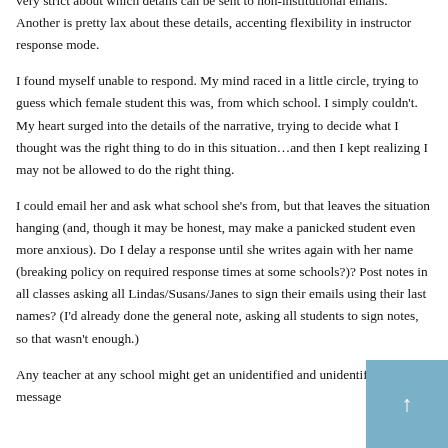very strict about which details can be sent to non-institutional emails. Another is pretty lax about these details, accenting flexibility in instructor response mode.
I found myself unable to respond. My mind raced in a little circle, trying to guess which female student this was, from which school. I simply couldn't. My heart surged into the details of the narrative, trying to decide what I thought was the right thing to do in this situation…and then I kept realizing I may not be allowed to do the right thing.
I could email her and ask what school she's from, but that leaves the situation hanging (and, though it may be honest, may make a panicked student even more anxious). Do I delay a response until she writes again with her name (breaking policy on required response times at some schools?)? Post notes in all classes asking all Lindas/Susans/Janes to sign their emails using their last names? (I'd already done the general note, asking all students to sign notes, so that wasn't enough.)
Any teacher at any school might get an unidentified and unidentifiable message